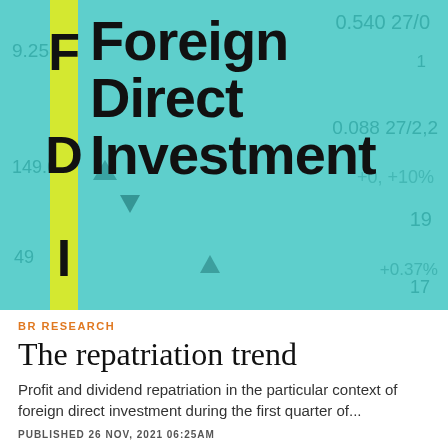[Figure (photo): FDI (Foreign Direct Investment) concept image with teal/cyan background showing financial numbers and the acronym FDI spelled vertically on a yellow bar, with the words Foreign, Direct, Investment displayed in large bold black text.]
BR RESEARCH
The repatriation trend
Profit and dividend repatriation in the particular context of foreign direct investment during the first quarter of...
PUBLISHED 26 NOV, 2021 06:25AM
[Figure (photo): Partial image of a second article, showing blurred objects on a dark background, partially visible at the bottom of the page.]